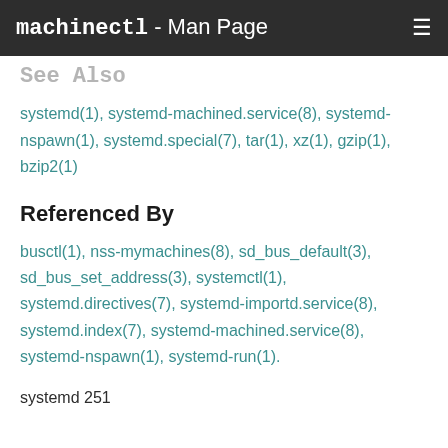machinectl - Man Page
See Also
systemd(1), systemd-machined.service(8), systemd-nspawn(1), systemd.special(7), tar(1), xz(1), gzip(1), bzip2(1)
Referenced By
busctl(1), nss-mymachines(8), sd_bus_default(3), sd_bus_set_address(3), systemctl(1), systemd.directives(7), systemd-importd.service(8), systemd.index(7), systemd-machined.service(8), systemd-nspawn(1), systemd-run(1).
systemd 251